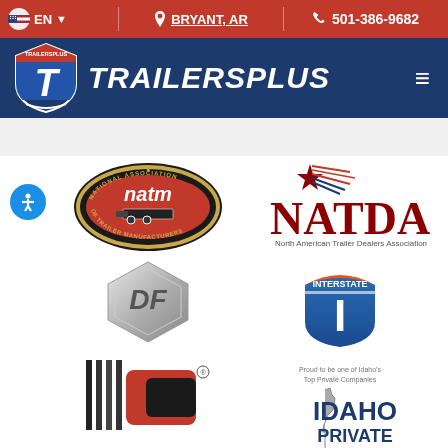EN | BRYANT, AR | 501-386-9682
[Figure (logo): TrailersPlus logo with shield icon and italic white text TRAILERSPLUS on dark blue nav bar]
[Figure (logo): National Association of Trailer Manufacturers (NATM) circular badge logo]
[Figure (logo): NATDA North American Trailer Dealers Association logo with star and flag motif]
[Figure (logo): DF hexagonal silver logo]
[Figure (logo): Interstate shield logo in blue and orange]
[Figure (logo): Partial red and black logo at bottom left]
[Figure (logo): Idaho Private - Proud to be one of Idaho's Top Private Companies logo, partial view]